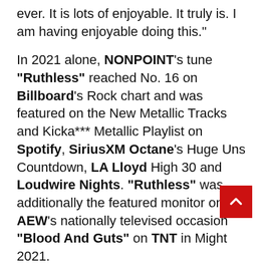ever. It is lots of enjoyable. It truly is. I am having enjoyable doing this."
In 2021 alone, NONPOINT's tune "Ruthless" reached No. 16 on Billboard's Rock chart and was featured on the New Metallic Tracks and Kicka*** Metallic Playlist on Spotify, SiriusXM Octane's Huge Uns Countdown, LA Lloyd High 30 and Loudwire Nights. "Ruthless" was additionally the featured monitor on AEW's nationally televised occasion "Blood And Guts" on TNT in Might 2021.
NONPOINT's songs "Bullet With A Title", "Alive And Kicking", "In The Air Tonight", "Circles", "Your Indicators", "All people Down" and plenty of others have been featured in trailers, hit films, tv, iconic video games, in addition to broadcasts from NFL, MLB, NHL, WWF.
NONPOINT has toured with various acts like DISTURBED